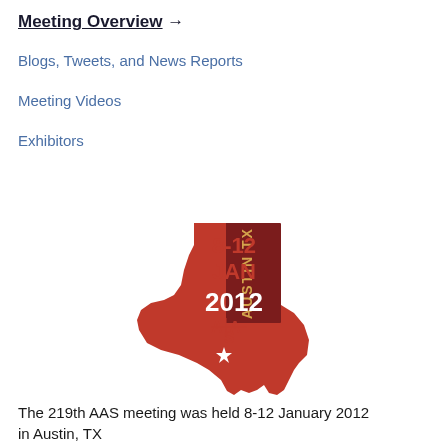Meeting Overview →
Blogs, Tweets, and News Reports
Meeting Videos
Exhibitors
[Figure (logo): AAS 219th meeting logo showing a red Texas state outline with 'AUSTIN TX' text vertically, and '8-12 JAN 2012' on a dark red rectangle, with AAS lettering and a white star]
The 219th AAS meeting was held 8-12 January 2012 in Austin, TX